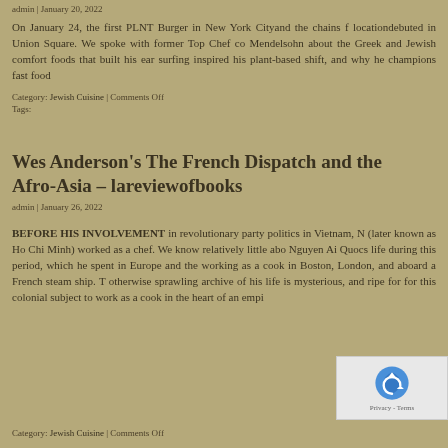admin | January 20, 2022
On January 24, the first PLNT Burger in New York Cityand the chains locationdebuted in Union Square. We spoke with former Top Chef co Mendelsohn about the Greek and Jewish comfort foods that built his ea surfing inspired his plant-based shift, and why he champions fast food
Category: Jewish Cuisine | Comments Off
Tags:
Wes Anderson's The French Dispatch and the Afro-Asia – lareviewofbooks
admin | January 26, 2022
BEFORE HIS INVOLVEMENT in revolutionary party politics in Vietnam, N (later known as Ho Chi Minh) worked as a chef. We know relatively little abo Nguyen Ai Quocs life during this period, which he spent in Europe and the working as a cook in Boston, London, and aboard a French steam ship. T otherwise sprawling archive of his life is mysterious, and ripe for for this colonial subject to work as a cook in the heart of an empi
Category: Jewish Cuisine | Comments Off